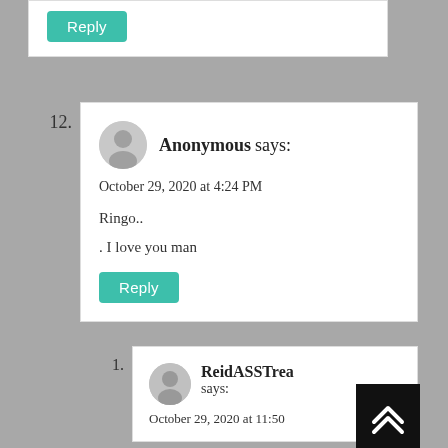Reply (button)
12. Anonymous says: October 29, 2020 at 4:24 PM
Ringo..
. I love you man
Reply (button)
1. ReidASSTrea says: October 29, 2020 at 11:50